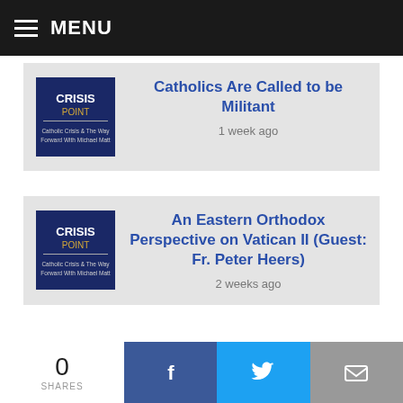MENU
Catholics Are Called to be Militant
1 week ago
An Eastern Orthodox Perspective on Vatican II (Guest: Fr. Peter Heers)
2 weeks ago
0 SHARES